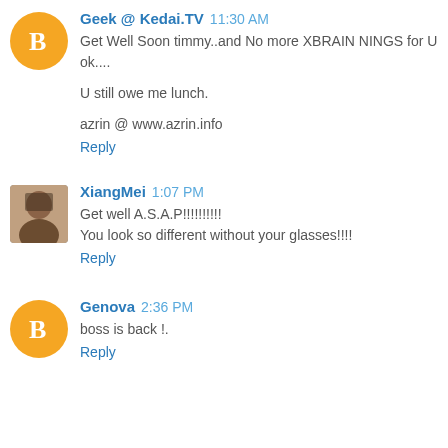Geek @ Kedai.TV 11:30 AM
Get Well Soon timmy..and No more XBRAIN NINGS for U ok....

U still owe me lunch.

azrin @ www.azrin.info
Reply
[Figure (photo): Avatar photo of XiangMei, a woman with dark hair]
XiangMei 1:07 PM
Get well A.S.A.P!!!!!!!!! 
You look so different without your glasses!!!!
Reply
Genova 2:36 PM
boss is back !.
Reply